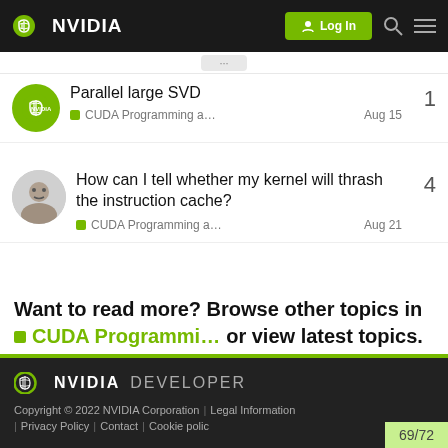NVIDIA — Log In
Parallel large SVD | CUDA Programming a… | Aug 15 | 1
How can I tell whether my kernel will thrash the instruction cache? | CUDA Programming a… | Aug 21 | 4
Want to read more? Browse other topics in CUDA Programmi… or view latest topics.
NVIDIA DEVELOPER | Copyright © 2022 NVIDIA Corporation | Legal Information | Privacy Policy | Contact | Cookie polic… | 69/72